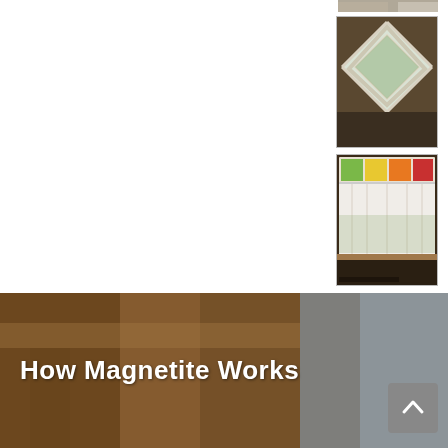[Figure (photo): Partial view of a room/window photo at the top right, cropped]
[Figure (photo): Diamond/angled window with natural light and tree view outside, white frame, interior dark]
[Figure (photo): Horizontal stained glass window with colorful rectangular panels (yellow, orange, red, green) above a white curtain window, interior view]
View all photos
How Magnetite Works